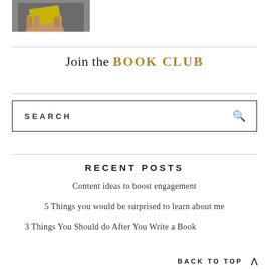[Figure (photo): Hand holding a yellow/book-related object, partial view cropped at top of page]
Join the BOOK CLUB
SEARCH
RECENT POSTS
Content ideas to boost engagement
5 Things you would be surprised to learn about me
3 Things You Should do After You Write a Book
BACK TO TOP ∧